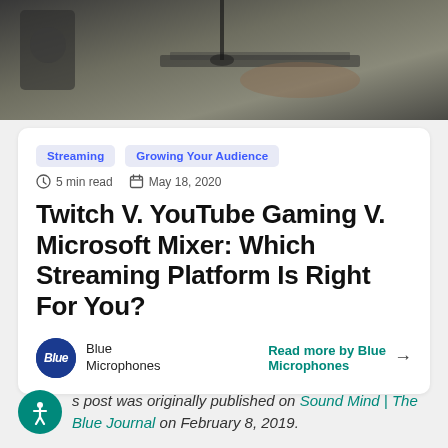[Figure (photo): Person working at a desk with keyboard, microphone stand, and audio equipment visible in background]
Streaming
Growing Your Audience
5 min read   May 18, 2020
Twitch V. YouTube Gaming V. Microsoft Mixer: Which Streaming Platform Is Right For You?
Blue Microphones
Read more by Blue Microphones →
This post was originally published on Sound Mind | The Blue Journal on February 8, 2019.